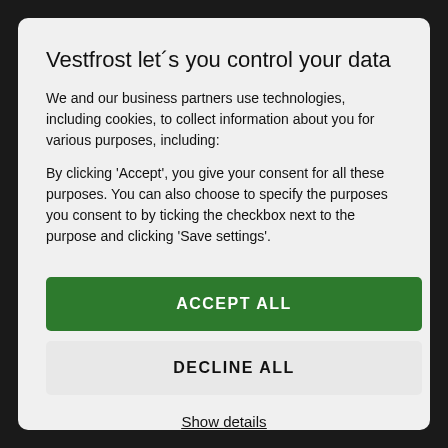Vestfrost let´s you control your data
We and our business partners use technologies, including cookies, to collect information about you for various purposes, including:
By clicking 'Accept', you give your consent for all these purposes. You can also choose to specify the purposes you consent to by ticking the checkbox next to the purpose and clicking 'Save settings'.
ACCEPT ALL
DECLINE ALL
Show details